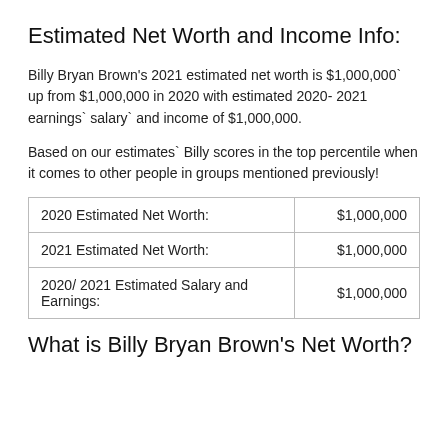Estimated Net Worth and Income Info:
Billy Bryan Brown's 2021 estimated net worth is $1,000,000` up from $1,000,000 in 2020 with estimated 2020- 2021 earnings` salary` and income of $1,000,000.
Based on our estimates` Billy scores in the top percentile when it comes to other people in groups mentioned previously!
|  |  |
| --- | --- |
| 2020 Estimated Net Worth: | $1,000,000 |
| 2021 Estimated Net Worth: | $1,000,000 |
| 2020/ 2021 Estimated Salary and Earnings: | $1,000,000 |
What is Billy Bryan Brown's Net Worth?